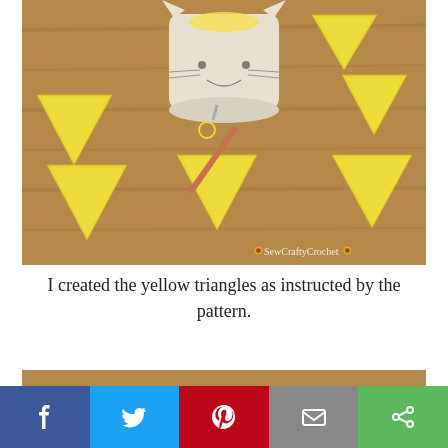[Figure (photo): Photo of multiple yellow crocheted triangles arranged on a wooden surface around a white cat-face mug. A rose-gold crochet hook is visible in the center. Watermark reads 'SewCraftyCrochet' in the lower right corner.]
I created the yellow triangles as instructed by the pattern.
[Figure (photo): Partial view of another crocheted item on a wooden surface, cropped at the bottom of the page.]
Social share bar: Facebook, Twitter, Pinterest, Email, Share